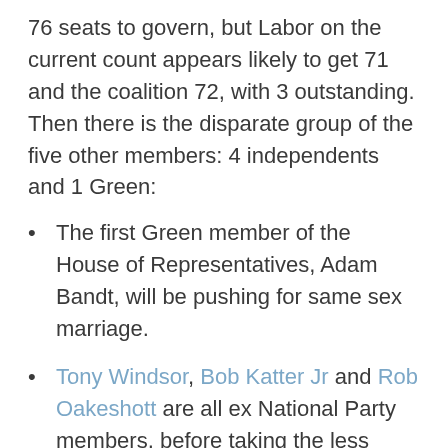76 seats to govern, but Labor on the current count appears likely to get 71 and the coalition 72, with 3 outstanding. Then there is the disparate group of the five other members: 4 independents and 1 Green:
The first Green member of the House of Representatives, Adam Bandt, will be pushing for same sex marriage.
Tony Windsor, Bob Katter Jr and Rob Oakeshott are all ex National Party members, before taking the less travelled road of being independents.
Andrew Wilkie is likely to be elected as an independent MP from Tasmania. A